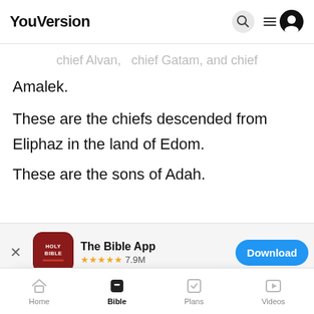YouVersion
chief Alvan, chief Gatam, and chief Amalek.
These are the chiefs descended from Eliphaz in the land of Edom.
These are the sons of Adah.
[Figure (screenshot): App download banner for 'The Bible App' with app icon (Holy Bible), 5 star rating 7.9M reviews, and a blue Download button]
YouVersion uses cookies to personalize your experience. By using our website, you accept our use of cookies as described in our Privacy Policy.
Home  Bible  Plans  Videos